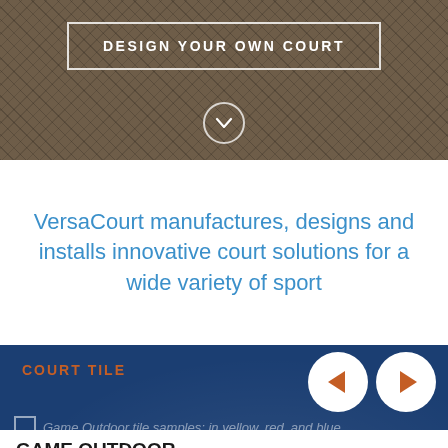[Figure (photo): Overhead textured court surface with diamond/grid pattern in dark brown/olive tones, with a 'Design Your Own Court' button overlay and a downward chevron circle]
VersaCourt manufactures, designs and installs innovative court solutions for a wide variety of sport
COURT TILE
Game Outdoor tile samples: in yellow, red, and blue
GAME OUTDOOR
VersaCourt Game outdoor court tile was designed and developed for outdoor multi-sport applications. The